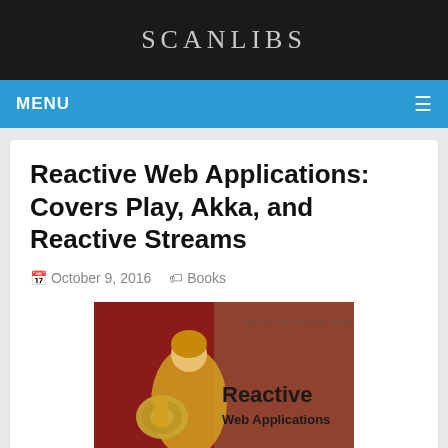SCANLIBS
MENU
Reactive Web Applications: Covers Play, Akka, and Reactive Streams
October 9, 2016  Books
[Figure (photo): Book cover of 'Reactive Web Applications: Covers Play, Akka, and Reactive Streams' showing a warrior figure on a dark red background]